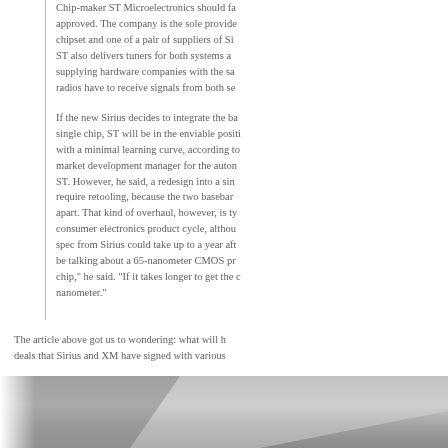Chip-maker ST Microelectronics should fa... approved. The company is the sole provide... chipset and one of a pair of suppliers of Si... ST also delivers tuners for both systems a... supplying hardware companies with the sa... radios have to receive signals from both se...
If the new Sirius decides to integrate the b... single chip, ST will be in the enviable posit... with a minimal learning curve, according to... market development manager for the auton... ST. However, he said, a redesign into a sin... require retooling, because the two basebar... apart. That kind of overhaul, however, is ty... consumer electronics product cycle, althou... spec from Sirius could take up to a year af... be talking about a 65-nanometer CMOS pr... chip," he said. "If it takes longer to get the... nanometer."
The article above got us to wondering: what will h... deals that Sirius and XM have signed with various...
Will the Lamborghini Murciélago lose some of its e... dating both radio providers?
[Figure (photo): Bottom portion of page showing a grey/silver surface, likely a car or automotive component, partially visible at the very bottom of the page.]